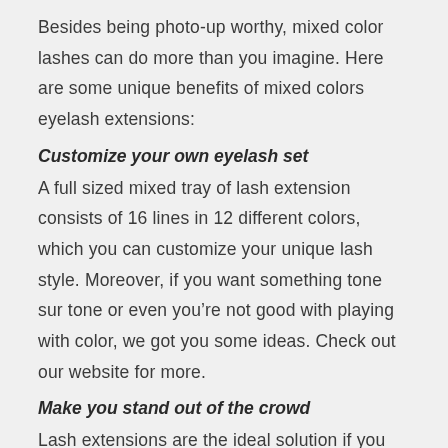Besides being photo-up worthy, mixed color lashes can do more than you imagine. Here are some unique benefits of mixed colors eyelash extensions:
Customize your own eyelash set
A full sized mixed tray of lash extension consists of 16 lines in 12 different colors, which you can customize your unique lash style. Moreover, if you want something tone sur tone or even you’re not good with playing with color, we got you some ideas. Check out our website for more.
Make you stand out of the crowd
Lash extensions are the ideal solution if you want to make your eyes appear bolder, but sometimes regular extensions don’t go far